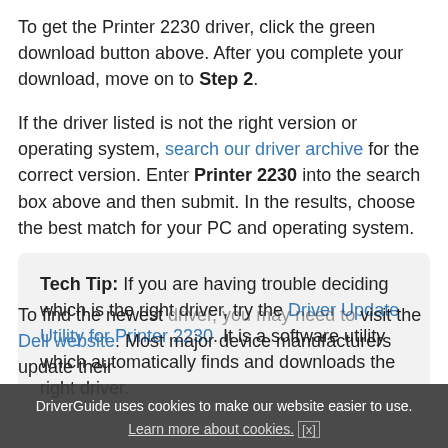To get the Printer 2230 driver, click the green download button above. After you complete your download, move on to Step 2.
If the driver listed is not the right version or operating system, search our driver archive for the correct version. Enter Printer 2230 into the search box above and then submit. In the results, choose the best match for your PC and operating system.
Tech Tip: If you are having trouble deciding which is the right driver, try the Driver Update Utility for Printer 2230. It is a software utility which automatically finds and downloads the right driver.
To find the newest driver, you may need to visit the Dell website. Most major device manufacturers update their
DriverGuide uses cookies to make our website easier to use.
Learn more about cookies. [x]